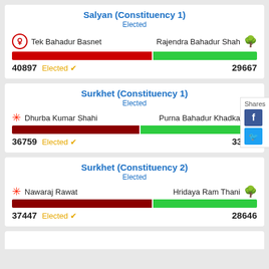Salyan (Constituency 1)
Elected
Tek Bahadur Basnet | Rajendra Bahadur Shah — 40897 Elected | 29667
Surkhet (Constituency 1)
Elected
Dhurba Kumar Shahi | Purna Bahadur Khadka — 36759 Elected | 33377
Surkhet (Constituency 2)
Elected
Nawaraj Rawat | Hridaya Ram Thani — 37447 Elected | 28646